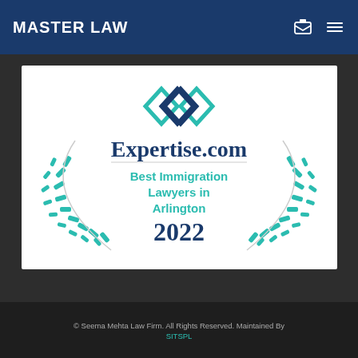MASTER LAW
[Figure (logo): Expertise.com Best Immigration Lawyers in Arlington 2022 award badge with teal laurel wreath and diamond logo]
© Seema Mehta Law Firm. All Rights Reserved. Maintained By SITSPL